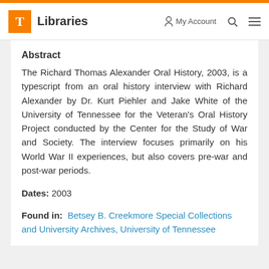T Libraries | My Account | Search | Menu
Abstract
The Richard Thomas Alexander Oral History, 2003, is a typescript from an oral history interview with Richard Alexander by Dr. Kurt Piehler and Jake White of the University of Tennessee for the Veteran's Oral History Project conducted by the Center for the Study of War and Society. The interview focuses primarily on his World War II experiences, but also covers pre-war and post-war periods.
Dates: 2003
Found in: Betsey B. Creekmore Special Collections and University Archives, University of Tennessee